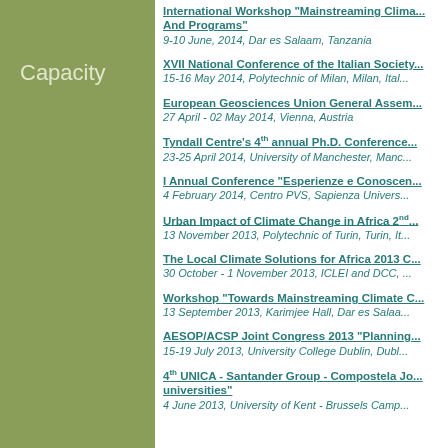Capacity
International Workshop "Mainstreaming Climate... And Programs"
9-10 June, 2014, Dar es Salaam, Tanzania
XVII National Conference of the Italian Society...
15-16 May 2014, Polytechnic of Milan, Milan, Ital...
European Geosciences Union General Assem...
27 April - 02 May 2014, Vienna, Austria
Tyndall Centre's 4th annual Ph.D. Conference...
23-25 April 2014, University of Manchester, Manc...
I Annual Conference "Esperienze e Conoscen...
4 February 2014, Centro PVS, Sapienza Univers...
Urban Impact of Climate Change in Africa 2nd...
13 November 2013, Polytechnic of Turin, Turin, It...
The Local Climate Solutions for Africa 2013 C...
30 October - 1 November 2013, ICLEI and DCC,...
Workshop "Towards Mainstreaming Climate C...
13 September 2013, Karimjee Hall, Dar es Salaa...
AESOP/ACSP Joint Congress 2013 "Planning...
15-19 July 2013, University College Dublin, Dubl...
4th UNICA - Santander Group - Compostela Jo... universities"
4 June 2013, University of Kent - Brussels Camp...